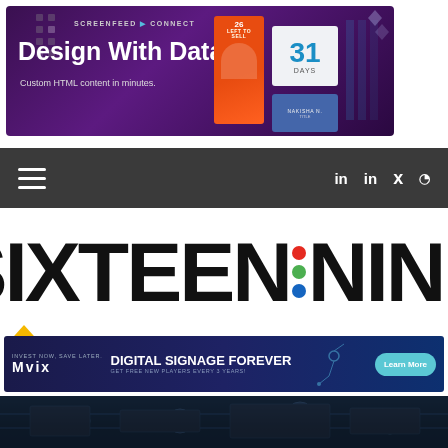[Figure (screenshot): Screenfeed Connect ad banner: 'Design With Data – Custom HTML content in minutes.' with product imagery on purple background]
[Figure (screenshot): Dark navigation bar with hamburger menu on left and social icons (LinkedIn, LinkedIn, Twitter, RSS) on right]
SIXTEEN:NINE
[Figure (screenshot): Mvix digital signage advertisement: 'INVEST NOW, SAVE LATER. DIGITAL SIGNAGE FOREVER — GET FREE NEW PLAYERS EVERY 3 YEARS!' with Learn More button]
[Figure (photo): Bottom strip showing dark technology/server room photo]